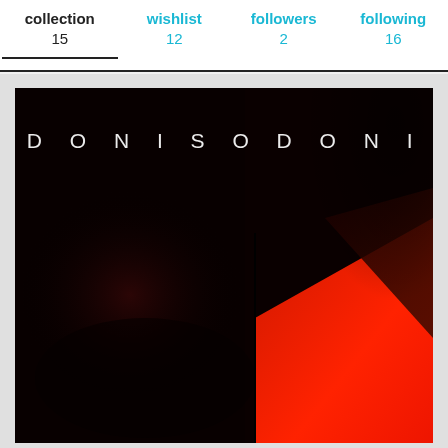collection 15  wishlist 12  followers 2  following 16
[Figure (illustration): Album cover for Odonis Odonis. Dark image with black background on the left half and geometric red/dark triangular shapes on the right half. White spaced-out text reading 'O D O N I S   O D O N I S' across the top.]